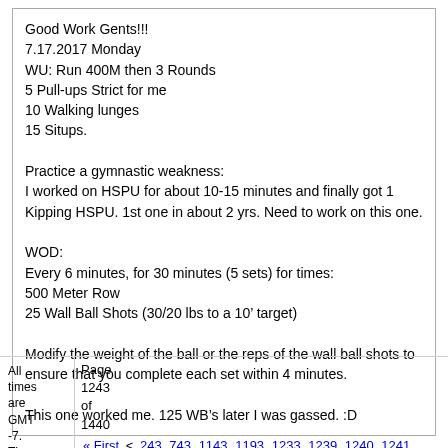Good Work Gents!!!
7.17.2017 Monday
WU: Run 400M then 3 Rounds
5 Pull-ups Strict for me
10 Walking lunges
15 Situps.

Practice a gymnastic weakness:
I worked on HSPU for about 10-15 minutes and finally got 1 Kipping HSPU. 1st one in about 2 yrs. Need to work on this one.

WOD:
Every 6 minutes, for 30 minutes (5 sets) for times:
500 Meter Row
25 Wall Ball Shots (30/20 lbs to a 10’ target)

Modify the weight of the ball or the reps of the wall ball shots to ensure that you complete each set within 4 minutes.

This one worked me. 125 WB’s later I was gassed. :D
All times are GMT -7. The time now  |  Page 1243 of 1440  |  « First  <  243  743  1143  1193  1233  1239  1240  1241  1242  1243  124...